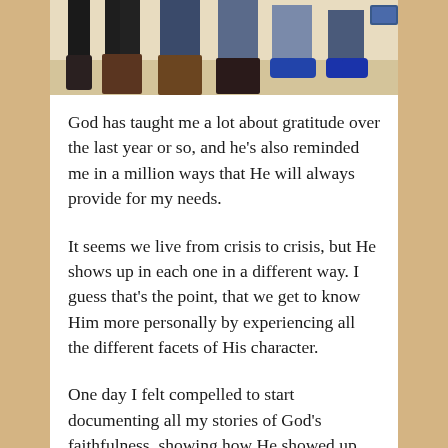[Figure (photo): Partial photo showing legs and feet of several people standing together, wearing boots, jeans, and sneakers.]
God has taught me a lot about gratitude over the last year or so, and he's also reminded me in a million ways that He will always provide for my needs.
It seems we live from crisis to crisis, but He shows up in each one in a different way. I guess that's the point, that we get to know Him more personally by experiencing all the different facets of His character.
One day I felt compelled to start documenting all my stories of God's faithfulness, showing how He showed up and displayed a different side of His character each time. When you read my stories, you probably think, “Wow. She’s seen God come through in so many awesome